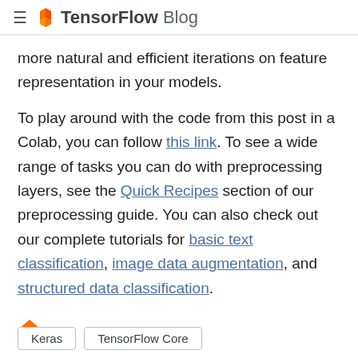≡ TensorFlow Blog
more natural and efficient iterations on feature representation in your models.
To play around with the code from this post in a Colab, you can follow this link. To see a wide range of tasks you can do with preprocessing layers, see the Quick Recipes section of our preprocessing guide. You can also check out our complete tutorials for basic text classification, image data augmentation, and structured data classification.
[Figure (other): Orange diamond/rhombus decorative separator]
Keras
TensorFlow Core